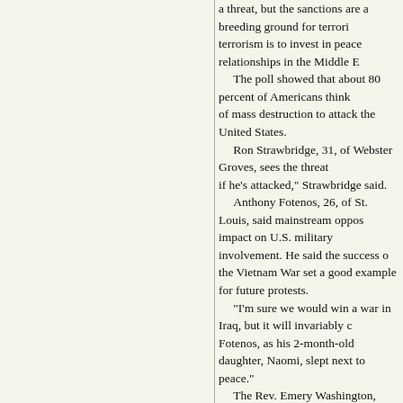a threat, but the sanctions are a breeding ground for terrorism. The best way to fight terrorism is to invest in peace relationships in the Middle E... The poll showed that about 80 percent of Americans think... of mass destruction to attack the United States. Ron Strawbridge, 31, of Webster Groves, sees the threat... if he's attacked," Strawbridge said. Anthony Fotenos, 26, of St. Louis, said mainstream oppos... impact on U.S. military involvement. He said the success o... the Vietnam War set a good example for future protests. "I'm sure we would win a war in Iraq, but it will invariably c... Fotenos, as his 2-month-old daughter, Naomi, slept next to... peace." The Rev. Emery Washington, president of Congregations... Improvement, said he feared the legacy being left for future... has to be another way" to resolve the U.S.-Iraqi conflict. Still, some protesters were skeptical that the anti-war sen... power. "I don't think support will last as long as it did in Vietnam,"
Thursday, December 05, 2002
Eating less for longevity: "Reduce an animal's intake of cal... longer than those on an ordinary diet. Now scientists want... restricted diet that has produced dramatic results in labora... work in humans. In September, the National Institute on Ag... involving about 200 people at three locations in Louisiana,
Capital Games: David Corn on Kissinger - "Asking Henry K... government malfeasance or nonfeasance is akin to asking...